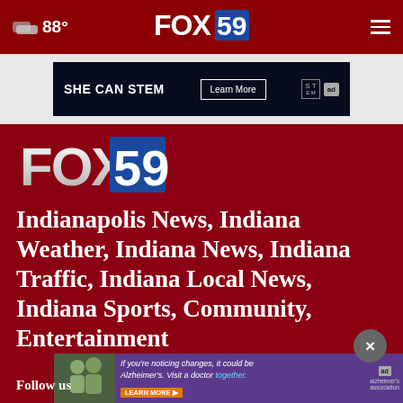☁ 88° FOX 59
[Figure (screenshot): SHE CAN STEM advertisement banner with Learn More button, STEM logo, and Ad Council logo on dark navy background]
[Figure (logo): FOX 59 logo - large version on dark red background]
Indianapolis News, Indiana Weather, Indiana News, Indiana Traffic, Indiana Local News, Indiana Sports, Community, Entertainment
[Figure (photo): Alzheimer's Association advertisement: two people outdoors, text reads 'If you're noticing changes, it could be Alzheimer's. Visit a doctor together. LEARN MORE'. Close button (x) visible.]
Follow us